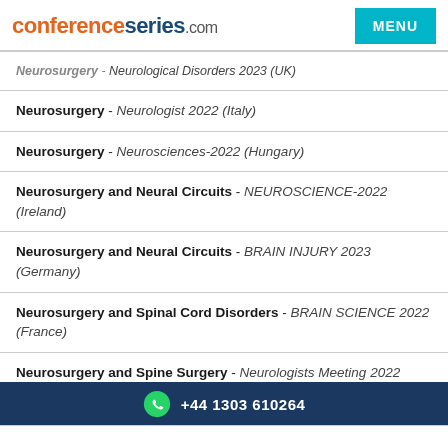conferenceseries.com
Neurosurgery - Neurological Disorders 2023 (UK)
Neurosurgery - Neurologist 2022 (Italy)
Neurosurgery - Neurosciences-2022 (Hungary)
Neurosurgery and Neural Circuits - NEUROSCIENCE-2022 (Ireland)
Neurosurgery and Neural Circuits - BRAIN INJURY 2023 (Germany)
Neurosurgery and Spinal Cord Disorders - BRAIN SCIENCE 2022 (France)
Neurosurgery and Spine Surgery - Neurologists Meeting 2022 (Italy)
+44 1303 610264